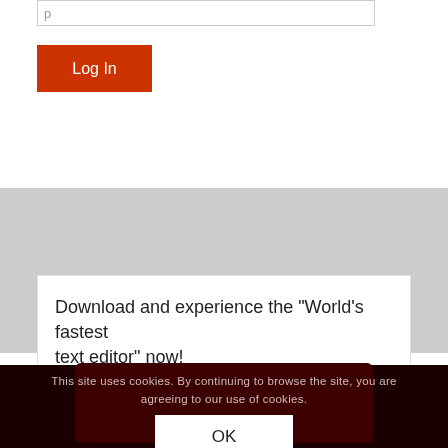[Figure (screenshot): Partial input text field at top of page]
[Figure (screenshot): Red Log In button]
Download and experience the “World’s fastest text editor” now!
This site uses cookies. By continuing to browse the site, you are agreeing to our use of cookies.
OK